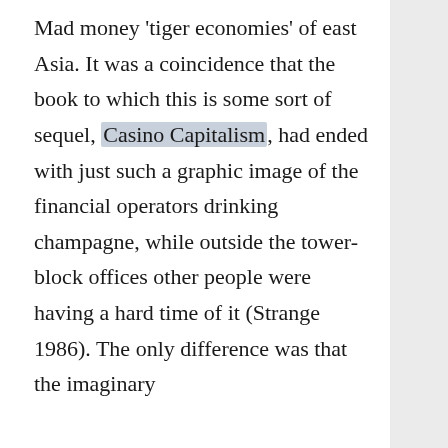Mad money 'tiger economies' of east Asia. It was a coincidence that the book to which this is some sort of sequel, Casino Capitalism, had ended with just such a graphic image of the financial operators drinking champagne, while outside the tower-block offices other people were having a hard time of it (Strange 1986). The only difference was that the imaginary
Type: Chapter
[Figure (photo): Book cover of 'Mad Money' by Susan Strange, dark blue background with stock market data overlay and yellow 'MAD' text at bottom]
in Mad Money
Online Publication Date: 01 Dec 2015
ISBN: 9781784997243
Subjects: Politics